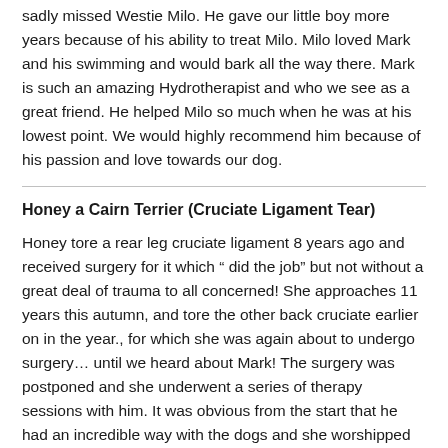sadly missed Westie Milo. He gave our little boy more years because of his ability to treat Milo. Milo loved Mark and his swimming and would bark all the way there. Mark is such an amazing Hydrotherapist and who we see as a great friend. He helped Milo so much when he was at his lowest point. We would highly recommend him because of his passion and love towards our dog.
Honey a Cairn Terrier (Cruciate Ligament Tear)
Honey tore a rear leg cruciate ligament 8 years ago and received surgery for it which “ did the job” but not without a great deal of trauma to all concerned! She approaches 11 years this autumn, and tore the other back cruciate earlier on in the year., for which she was again about to undergo surgery… until we heard about Mark! The surgery was postponed and she underwent a series of therapy sessions with him. It was obvious from the start that he had an incredible way with the dogs and she worshipped him. She is now back to her old self, with newly grown muscle around the tear enabling her to lead her usual very active Cairn life! She is definitely suffering from withdrawal symptoms and we shall be back to “top